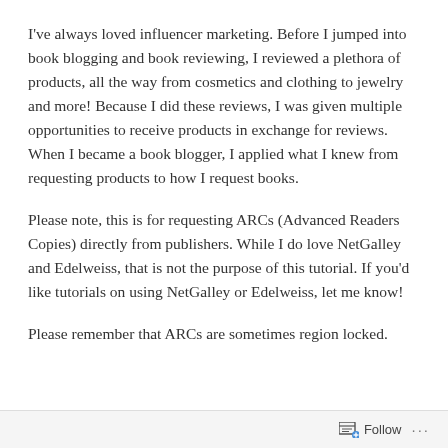I've always loved influencer marketing. Before I jumped into book blogging and book reviewing, I reviewed a plethora of products, all the way from cosmetics and clothing to jewelry and more! Because I did these reviews, I was given multiple opportunities to receive products in exchange for reviews. When I became a book blogger, I applied what I knew from requesting products to how I request books.
Please note, this is for requesting ARCs (Advanced Readers Copies) directly from publishers. While I do love NetGalley and Edelweiss, that is not the purpose of this tutorial. If you'd like tutorials on using NetGalley or Edelweiss, let me know!
Please remember that ARCs are sometimes region locked.
Follow ...